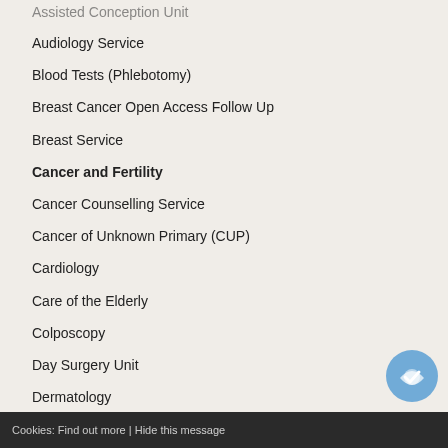Assisted Conception Unit
Audiology Service
Blood Tests (Phlebotomy)
Breast Cancer Open Access Follow Up
Breast Service
Cancer and Fertility
Cancer Counselling Service
Cancer of Unknown Primary (CUP)
Cardiology
Care of the Elderly
Colposcopy
Day Surgery Unit
Dermatology
Cookies: Find out more | Hide this message